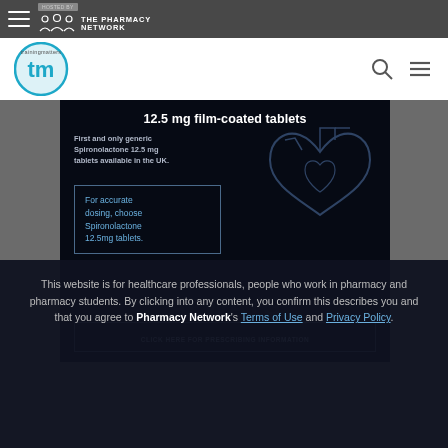HOSTED BY THE PHARMACY NETWORK
[Figure (logo): Training Matters (tm) logo with search and hamburger menu icons]
[Figure (photo): Dark advertisement for Spironolactone 12.5mg film-coated tablets with heart diagram. Text: First and only generic Spironolactone 12.5mg tablets available in the UK. For accurate dosing, choose Spironolactone 12.5mg tablets. CLICK HERE FOR PRESCRIBING INFORMATION]
This website is for healthcare professionals, people who work in pharmacy and pharmacy students. By clicking into any content, you confirm this describes you and that you agree to Pharmacy Network's Terms of Use and Privacy Policy.